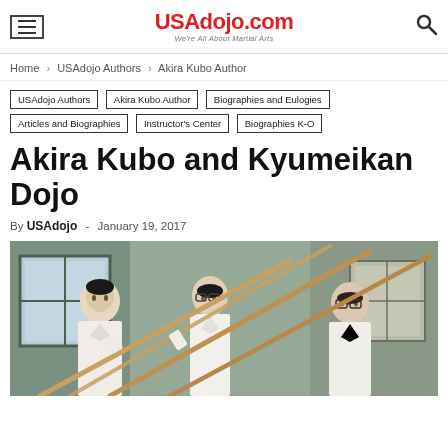USAdojo.com — We're All About Martial Arts
Home › USAdojo Authors › Akira Kubo Author
USAdojo Authors
Akira Kubo Author
Biographies and Eulogies
Articles and Biographies
Instructor's Center
Biographies K-O
Akira Kubo and Kyumeikan Dojo
By USAdojo - January 19, 2017
[Figure (photo): Three men in white martial arts uniforms (gi) holding wooden bo staffs (jo sticks) in a dojo setting, viewed from the side/front]